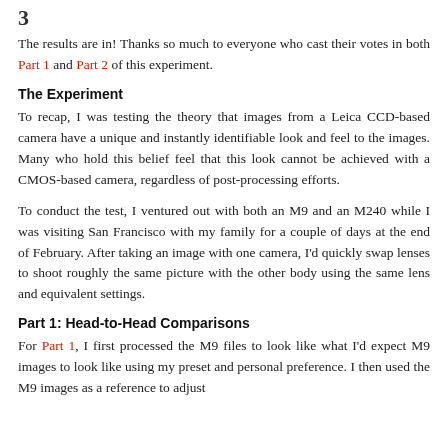3
The results are in! Thanks so much to everyone who cast their votes in both Part 1 and Part 2 of this experiment.
The Experiment
To recap, I was testing the theory that images from a Leica CCD-based camera have a unique and instantly identifiable look and feel to the images. Many who hold this belief feel that this look cannot be achieved with a CMOS-based camera, regardless of post-processing efforts.
To conduct the test, I ventured out with both an M9 and an M240 while I was visiting San Francisco with my family for a couple of days at the end of February. After taking an image with one camera, I'd quickly swap lenses to shoot roughly the same picture with the other body using the same lens and equivalent settings.
Part 1: Head-to-Head Comparisons
For Part 1, I first processed the M9 files to look like what I'd expect M9 images to look like using my preset and personal preference. I then used the M9 images as a reference to adjust